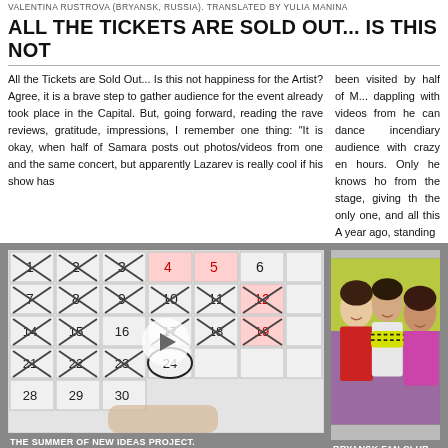VALENTINA RUSTROVA (BRYANSK, RUSSIA). TRANSLATED BY YULIA MANINA
ALL THE TICKETS ARE SOLD OUT... IS THIS NOT
All the Tickets are Sold Out... Is this not happiness for the Artist? Agree, it is a brave step to gather audience for the event already took place in the Capital. But, going forward, reading the rave reviews, gratitude, impressions, I remember one thing: "It is okay, when half of Samara posts out photos/videos from one and the same concert, but apparently Lazarev is really cool if his show has
been visited by half of M... dappling with videos from he can dance incendiary audience with crazy en hours. Only he knows ho from the stage, giving th the only one, and all this A year ago, standing
[Figure (photo): A calendar with dates crossed out, with a video play button overlay]
[Figure (photo): Three young women smiling at a fan club event]
THE SUMMER OF NEW IDEAS PROJECT.
BRYANSK FAN CLUB IN "CR